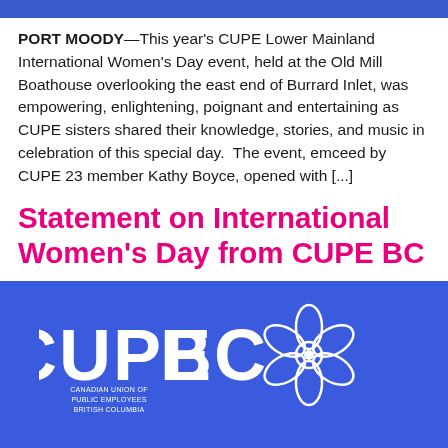[Figure (other): Blue header bar at top of page]
PORT MOODY—This year's CUPE Lower Mainland International Women's Day event, held at the Old Mill Boathouse overlooking the east end of Burrard Inlet, was empowering, enlightening, poignant and entertaining as CUPE sisters shared their knowledge, stories, and music in celebration of this special day.  The event, emceed by CUPE 23 member Kathy Boyce, opened with [...]
Statement on International Women's Day from CUPE BC
[Figure (logo): CUPE BC logo on blue background — 'CUPE' in large white bold text, 'BC' in large white bold text, 'CANADIAN UNION OF PUBLIC EMPLOYEES BRITISH COLUMBIA' in small white text, and a white flower/snowflake graphic outline to the right]